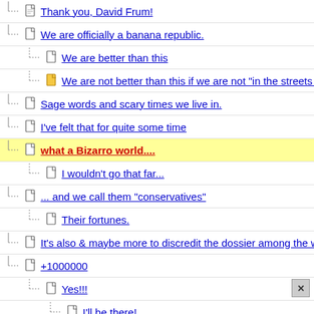Thank you, David Frum!
We are officially a banana republic.
We are better than this
We are not better than this if we are not "in the streets marching."
Sage words and scary times we live in.
I've felt that for quite some time
what a Bizarro world....
I wouldn't go that far...
... and we call them "conservatives"
Their fortunes.
It's also & maybe more to discredit the dossier among the wobbly
+1000000
Yes!!!
I'll be there! ...
Rachel is very scary right now. n/t
That's the truth.
K&R
A little logic here....
in a nutshell
And easily brainwashed voters.